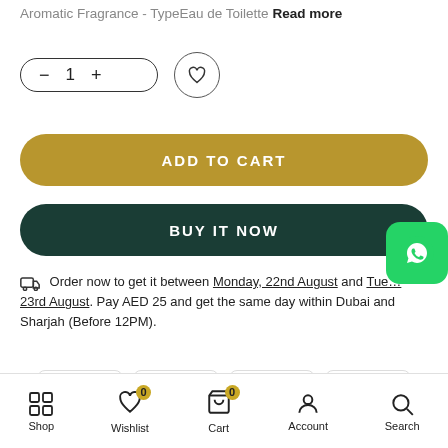Aromatic Fragrance - TypeEau de Toilette Read more
[Figure (screenshot): Quantity selector with minus, 1, plus buttons; heart/wishlist circle button]
ADD TO CART
BUY IT NOW
Order now to get it between Monday, 22nd August and Tuesday, 23rd August. Pay AED 25 and get the same day within Dubai and Sharjah (Before 12PM).
[Figure (other): Four payment card icons in a row]
Shop  Wishlist 0  Cart 0  Account  Search